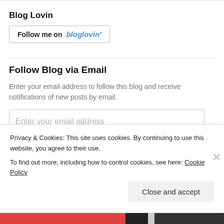Blog Lovin
[Figure (other): Follow me on bloglovin button - a rectangular button with border showing 'Follow me on' in black bold text and 'bloglovin'' in blue italic text]
Follow Blog via Email
Enter your email address to follow this blog and receive notifications of new posts by email.
Enter your email address (input field placeholder)
Privacy & Cookies: This site uses cookies. By continuing to use this website, you agree to their use.
To find out more, including how to control cookies, see here: Cookie Policy